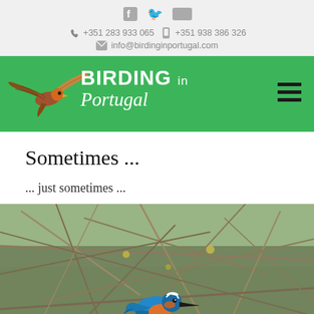f  t  flickr
☎ +351 283 933 065  📱 +351 938 386 326
✉ info@birdinginportugal.com
[Figure (logo): Birding in Portugal logo on green banner with bird of prey graphic, BIRDING in Portugal text in white]
Sometimes ...
... just sometimes ...
[Figure (photo): A kingfisher bird perched on branches, vibrant blue and orange coloring, among tangled twigs with blurred green background]